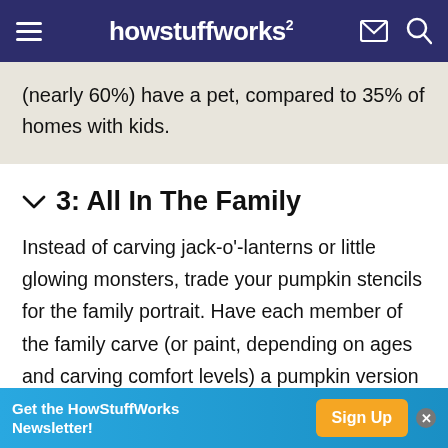howstuffworks
(nearly 60%) have a pet, compared to 35% of homes with kids.
3: All In The Family
Instead of carving jack-o'-lanterns or little glowing monsters, trade your pumpkin stencils for the family portrait. Have each member of the family carve (or paint, depending on ages and carving comfort levels) a pumpkin version of him or herself, and be sure to allow for interpretation!
Get the HowStuffWorks Newsletter! Sign Up